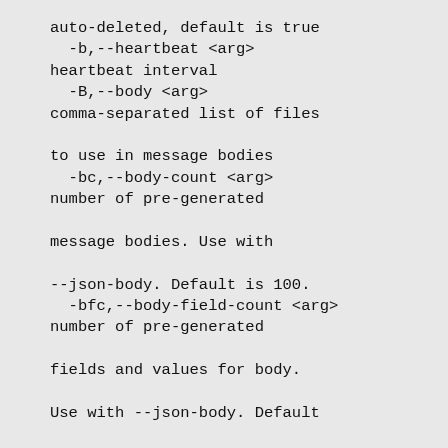auto-deleted, default is true
  -b,--heartbeat <arg>
heartbeat interval
  -B,--body <arg>
comma-separated list of files

to use in message bodies
  -bc,--body-count <arg>
number of pre-generated

message bodies. Use with

--json-body. Default is 100.
  -bfc,--body-field-count <arg>
number of pre-generated

fields and values for body.

Use with --json-body. Default

is 1000.
  -c,--confirm <arg>
max unconfirmed publishes
  -C,--pmessages <arg>
producer message count
  --consumer-args <arg>